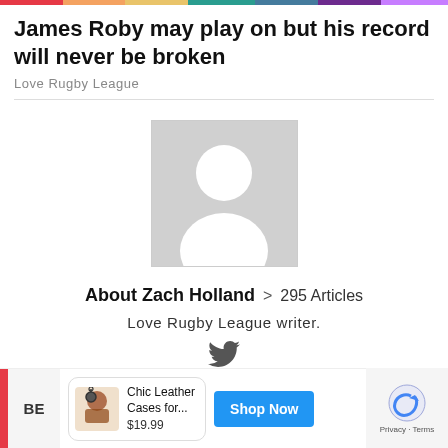James Roby may play on but his record will never be broken
Love Rugby League
[Figure (illustration): Grey placeholder avatar image with white silhouette of a person (head and shoulders)]
About Zach Holland > 295 Articles
Love Rugby League writer.
[Figure (logo): Twitter bird icon]
BE  Chic Leather Cases for... $19.99  Shop Now  Privacy · Terms